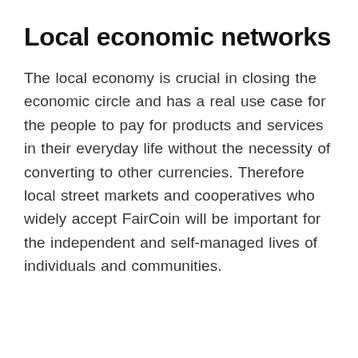Local economic networks
The local economy is crucial in closing the economic circle and has a real use case for the people to pay for products and services in their everyday life without the necessity of converting to other currencies. Therefore local street markets and cooperatives who widely accept FairCoin will be important for the independent and self-managed lives of individuals and communities.